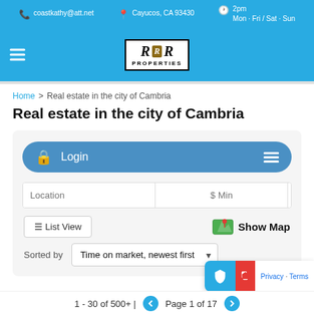coastkathy@att.net | Cayucos, CA 93430 | 2pm Mon - Fri / Sat - Sun
[Figure (logo): R&R Properties logo with navigation bar on blue background]
Home > Real estate in the city of Cambria
Real estate in the city of Cambria
[Figure (screenshot): Login button, search fields for Location, $ Min, $ Max, List View and Show Map controls, sorted by dropdown, and pagination showing 1 - 30 of 500+ | Page 1 of 17]